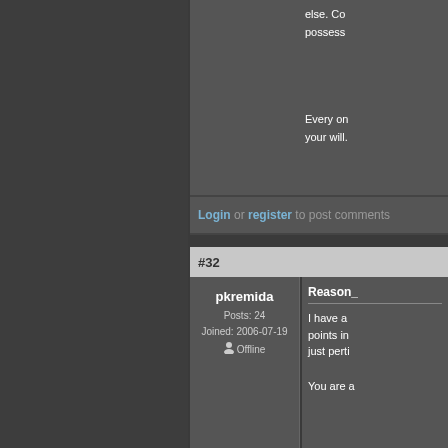else. Co possess
Every on your will.
Login or register to post comments
#32
pkremida
Posts: 24
Joined: 2006-07-19
Offline
Reason_
I have a points in just perti
You are a